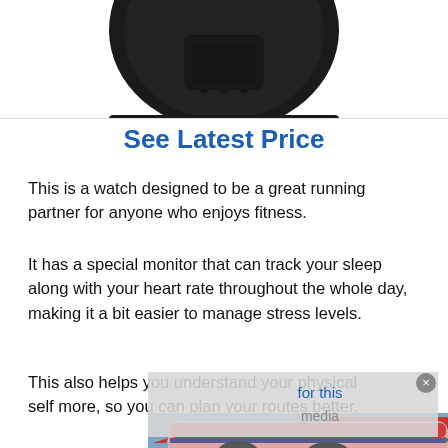[Figure (photo): Bottom portion of a black smartwatch/GPS watch against a white background]
See Latest Price
This is a watch designed to be a great running partner for anyone who enjoys fitness.
It has a special monitor that can track your sleep along with your heart rate throughout the whole day, making it a bit easier to manage stress levels.
This also helps you understand your physical self more, so you can plan your routes better.
[Figure (photo): Advertisement banner showing an airplane on tarmac with cargo being loaded; badge reads 'WITHOUT REGARD TO POLITICS, RELIGION, OR ABILITY TO PAY']